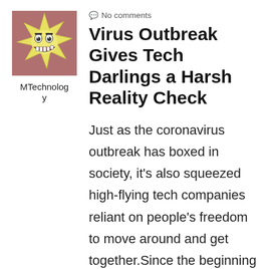[Figure (illustration): Cartoon star-shaped character with eyes, teeth, and yellow spiky points on a brownish-red background]
MTechnology
No comments
Virus Outbreak Gives Tech Darlings a Harsh Reality Check
Just as the coronavirus outbreak has boxed in society, it's also squeezed high-flying tech companies reliant on people's freedom to move around and get together.Since the beginning of March, for instance, Uber